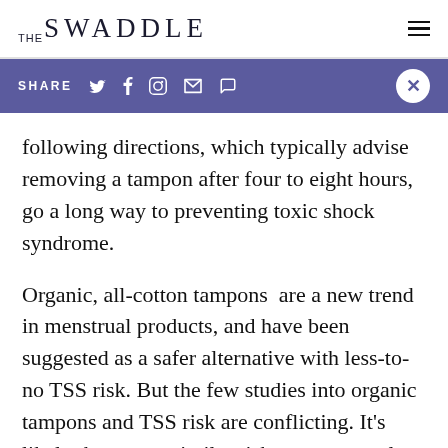THE SWADDLE
SHARE
following directions, which typically advise removing a tampon after four to eight hours, go a long way to preventing toxic shock syndrome.
Organic, all-cotton tampons  are a new trend in menstrual products, and have been suggested as a safer alternative with less-to-no TSS risk. But the few studies into organic tampons and TSS risk are conflicting. It's likely they carry similar risks to menstrual products like sponges and cups, which technically can cause TSS, but are associated